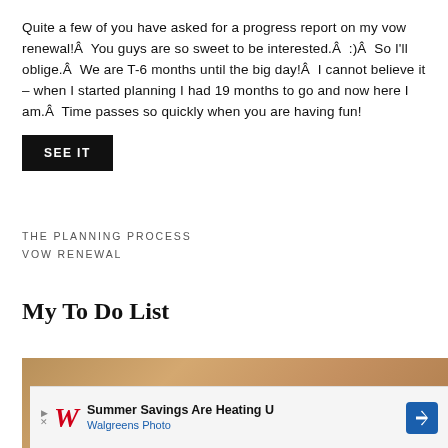Quite a few of you have asked for a progress report on my vow renewal!Â  You guys are so sweet to be interested.Â  :)Â  So I'll oblige.Â  We are T-6 months until the big day!Â  I cannot believe it – when I started planning I had 19 months to go and now here I am.Â  Time passes so quickly when you are having fun!
SEE IT
THE PLANNING PROCESS
VOW RENEWAL
My To Do List
[Figure (photo): Close-up photo of what appears to be fabric or material in warm brown/tan tones]
[Figure (other): Advertisement banner for Walgreens Photo: Summer Savings Are Heating U - Walgreens Photo with logo and blue arrow icon]